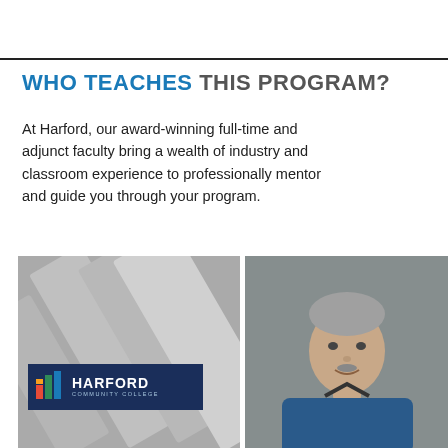WHO TEACHES THIS PROGRAM?
At Harford, our award-winning full-time and adjunct faculty bring a wealth of industry and classroom experience to professionally mentor and guide you through your program.
[Figure (photo): Harford Community College logo placeholder image with geometric gray background and HCC logo in navy blue overlay]
[Figure (photo): Professional headshot of a middle-aged man with gray hair, wearing a blue cardigan and dark tie, against a gray background]